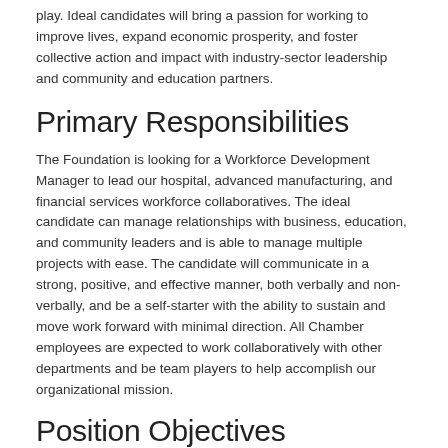play. Ideal candidates will bring a passion for working to improve lives, expand economic prosperity, and foster collective action and impact with industry-sector leadership and community and education partners.
Primary Responsibilities
The Foundation is looking for a Workforce Development Manager to lead our hospital, advanced manufacturing, and financial services workforce collaboratives. The ideal candidate can manage relationships with business, education, and community leaders and is able to manage multiple projects with ease. The candidate will communicate in a strong, positive, and effective manner, both verbally and non-verbally, and be a self-starter with the ability to sustain and move work forward with minimal direction. All Chamber employees are expected to work collaboratively with other departments and be team players to help accomplish our organizational mission.
Position Objectives
Responsible for managing the hospital, advanced manufacturing, and financial services workforce collaboratives, serving as an intermediary